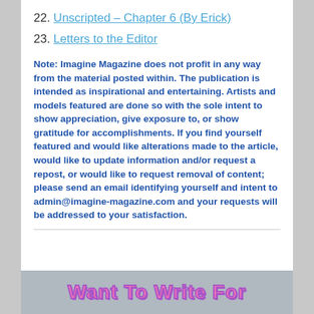22. Unscripted – Chapter 6 (By Erick)
23. Letters to the Editor
Note: Imagine Magazine does not profit in any way from the material posted within. The publication is intended as inspirational and entertaining. Artists and models featured are done so with the sole intent to show appreciation, give exposure to, or show gratitude for accomplishments. If you find yourself featured and would like alterations made to the article, would like to update information and/or request a repost, or would like to request removal of content; please send an email identifying yourself and intent to admin@imagine-magazine.com and your requests will be addressed to your satisfaction.
[Figure (illustration): Banner image with colorful text reading 'Want To Write For']